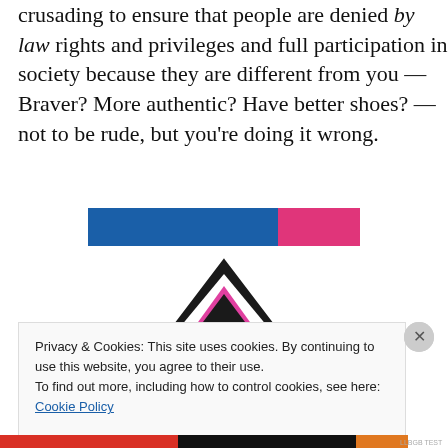crusading to ensure that people are denied by law rights and privileges and full participation in society because they are different from you — Braver? More authentic? Have better shoes? — not to be rude, but you're doing it wrong.
[Figure (screenshot): Advertisement banner with blue background and pink button element]
[Figure (logo): Triangular logo icon with black outline and pink inner shape, resembling the Atracker or similar app icon]
Privacy & Cookies: This site uses cookies. By continuing to use this website, you agree to their use.
To find out more, including how to control cookies, see here: Cookie Policy
Close and accept